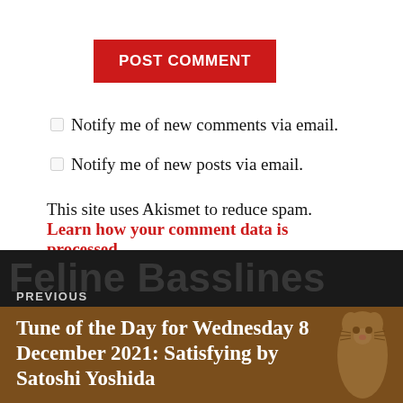POST COMMENT
☐ Notify me of new comments via email.
☐ Notify me of new posts via email.
This site uses Akismet to reduce spam. Learn how your comment data is processed.
[Figure (screenshot): Navigation block with dark background showing 'Feline Basslines' watermark text, 'PREVIOUS' label, and a brown box with the title 'Tune of the Day for Wednesday 8 December 2021: Satisfying by Satoshi Yoshida']